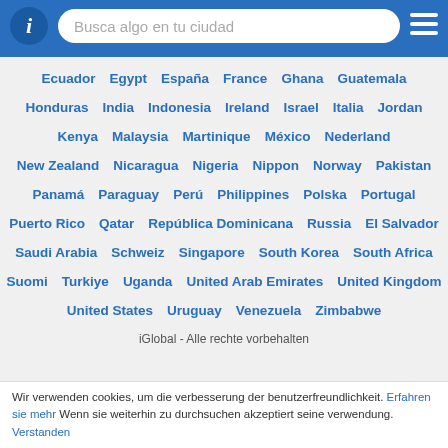Busca algo en tu ciudad
Ecuador Egypt España France Ghana Guatemala
Honduras India Indonesia Ireland Israel Italia Jordan
Kenya Malaysia Martinique México Nederland
New Zealand Nicaragua Nigeria Nippon Norway Pakistan
Panamá Paraguay Perú Philippines Polska Portugal
Puerto Rico Qatar República Dominicana Russia El Salvador
Saudi Arabia Schweiz Singapore South Korea South Africa
Suomi Turkiye Uganda United Arab Emirates United Kingdom
United States Uruguay Venezuela Zimbabwe
iGlobal - Alle rechte vorbehalten
Wir verwenden cookies, um die verbesserung der benutzerfreundlichkeit. Erfahren sie mehr Wenn sie weiterhin zu durchsuchen akzeptiert seine verwendung. Verstanden